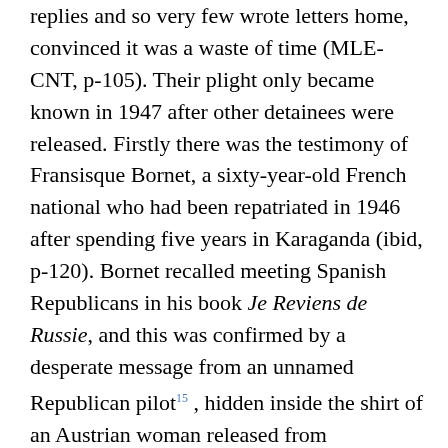replies and so very few wrote letters home, convinced it was a waste of time (MLE-CNT, p-105). Their plight only became known in 1947 after other detainees were released. Firstly there was the testimony of Fransisque Bornet, a sixty-year-old French national who had been repatriated in 1946 after spending five years in Karaganda (ibid, p-120). Bornet recalled meeting Spanish Republicans in his book Je Reviens de Russie, and this was confirmed by a desperate message from an unnamed Republican pilot[15], hidden inside the shirt of an Austrian woman released from Karaganda. The case was investigated by the MLE in exile through their prisoner support group FEDIP. They verified the reports and established that the detainees were indeed Republican fighters, most of them members of the CNT or UGT. In 1948 they published a list of 59 surviving Spanish anti-fascist detainees – 25 trainee